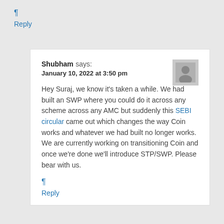¶
Reply
Shubham says:
January 10, 2022 at 3:50 pm

Hey Suraj, we know it's taken a while. We had built an SWP where you could do it across any scheme across any AMC but suddenly this SEBI circular came out which changes the way Coin works and whatever we had built no longer works. We are currently working on transitioning Coin and once we're done we'll introduce STP/SWP. Please bear with us.
¶
Reply